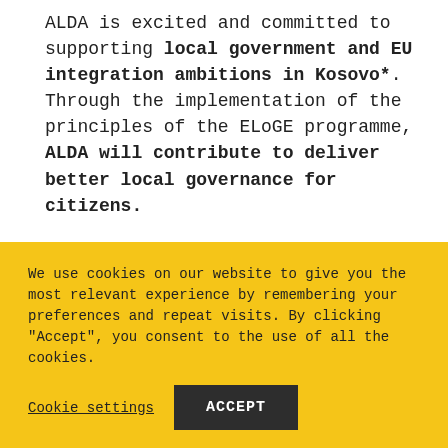ALDA is excited and committed to supporting local government and EU integration ambitions in Kosovo*.  Through the implementation of the principles of the ELoGE programme, ALDA will contribute to deliver better local governance for citizens.

Why the ELoGE? The ELoGE evaluation allows local authorities to understand their strengths and their weaknesses...
We use cookies on our website to give you the most relevant experience by remembering your preferences and repeat visits. By clicking "Accept", you consent to the use of all the cookies.